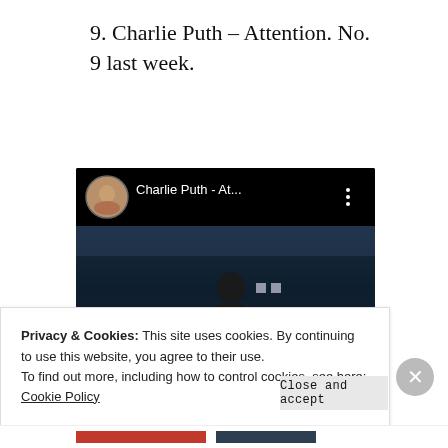9. Charlie Puth – Attention. No. 9 last week.
[Figure (screenshot): YouTube video embed showing Charlie Puth - Attention music video thumbnail with a person standing in a dark blue studio room, YouTube play button overlay visible, video header shows artist avatar and title 'Charlie Puth - At...']
Privacy & Cookies: This site uses cookies. By continuing to use this website, you agree to their use.
To find out more, including how to control cookies, see here: Cookie Policy
Close and accept